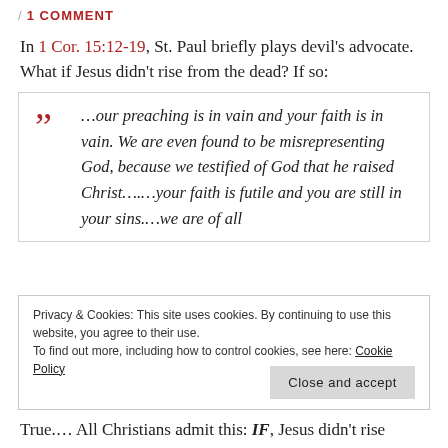/ 1 COMMENT
In 1 Cor. 15:12-19, St. Paul briefly plays devil's advocate. What if Jesus didn't rise from the dead? If so:
…our preaching is in vain and your faith is in vain. We are even found to be misrepresenting God, because we testified of God that he raised Christ….…your faith is futile and you are still in your sins.…we are of all
Privacy & Cookies: This site uses cookies. By continuing to use this website, you agree to their use.
To find out more, including how to control cookies, see here: Cookie Policy
Close and accept
True.… All Christians admit this: IF, Jesus didn't rise